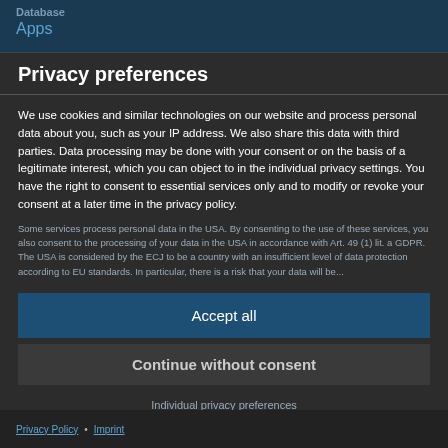Database
Apps
Privacy preferences
We use cookies and similar technologies on our website and process personal data about you, such as your IP address. We also share this data with third parties. Data processing may be done with your consent or on the basis of a legitimate interest, which you can object to in the individual privacy settings. You have the right to consent to essential services only and to modify or revoke your consent at a later time in the privacy policy.
Some services process personal data in the USA. By consenting to the use of these services, you also consent to the processing of your data in the USA in accordance with Art. 49 (1) lit. a GDPR. The USA is considered by the ECJ to be a country with an insufficient level of data protection according to EU standards. In particular, there is a risk that your data will be...
Accept all
Continue without consent
Individual privacy preferences
Privacy Policy • Imprint